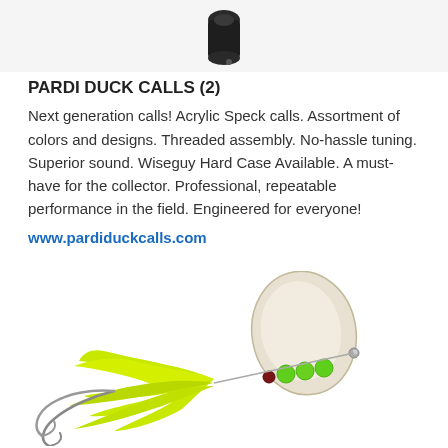[Figure (photo): Partial top view of a dark duck call product against a light gray background]
PARDI DUCK CALLS (2)
Next generation calls! Acrylic Speck calls. Assortment of colors and designs. Threaded assembly. No-hassle tuning. Superior sound. Wiseguy Hard Case Available. A must-have for the collector. Professional, repeatable performance in the field. Engineered for everyone!
www.pardiduckcalls.com
[Figure (photo): Fishing lure with chartreuse/yellow-green feathers, green beads, and a large silver spinner blade]